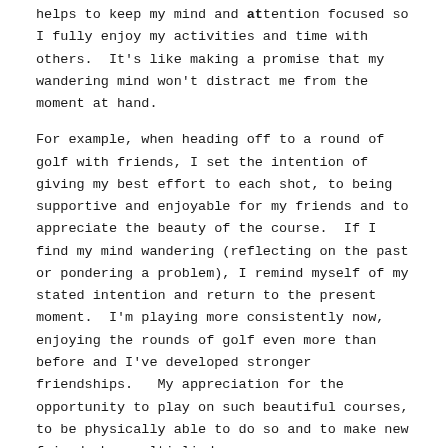helps to keep my mind and attention focused so I fully enjoy my activities and time with others.  It's like making a promise that my wandering mind won't distract me from the moment at hand.
For example, when heading off to a round of golf with friends, I set the intention of giving my best effort to each shot, to being supportive and enjoyable for my friends and to appreciate the beauty of the course.  If I find my mind wandering (reflecting on the past or pondering a problem), I remind myself of my stated intention and return to the present moment.  I'm playing more consistently now, enjoying the rounds of golf even more than before and I've developed stronger friendships.   My appreciation for the opportunity to play on such beautiful courses, to be physically able to do so and to make new friends has multiplied.